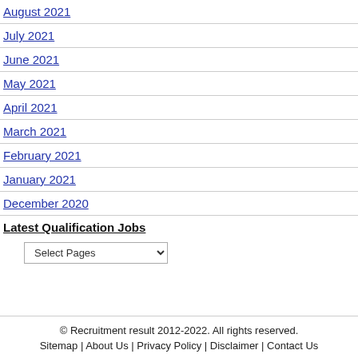August 2021
July 2021
June 2021
May 2021
April 2021
March 2021
February 2021
January 2021
December 2020
Latest Qualification Jobs
Select Pages
© Recruitment result 2012-2022. All rights reserved. Sitemap | About Us | Privacy Policy | Disclaimer | Contact Us